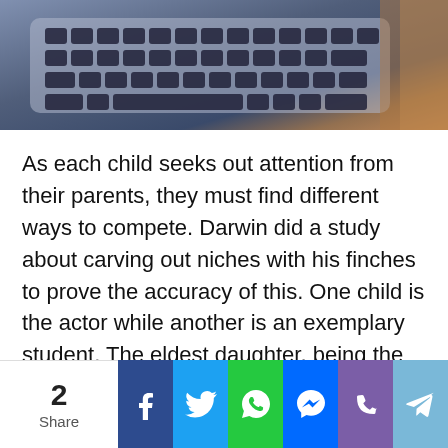[Figure (photo): Close-up photo of a laptop keyboard on a wooden surface, viewed from an angle.]
As each child seeks out attention from their parents, they must find different ways to compete. Darwin did a study about carving out niches with his finches to prove the accuracy of this. One child is the actor while another is an exemplary student. The eldest daughter, being the firstborn gets to choose what niche she fits in and will choose based on her personality. The other
2 Share [Facebook] [Twitter] [WhatsApp] [Messenger] [Phone] [Telegram]